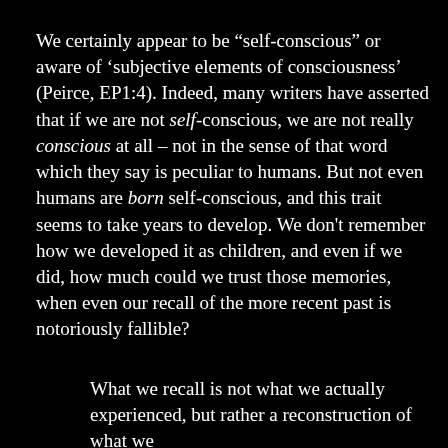We certainly appear to be “self-conscious” or aware of ‘subjective elements of consciousness’ (Peirce, EP1:4). Indeed, many writers have asserted that if we are not self-conscious, we are not really conscious at all – not in the sense of that word which they say is peculiar to humans. But not even humans are born self-conscious, and this trait seems to take years to develop. We don't remember how we developed it as children, and even if we did, how much could we trust those memories, when even our recall of the more recent past is notoriously fallible?
What we recall is not what we actually experienced, but rather a reconstruction of what we...